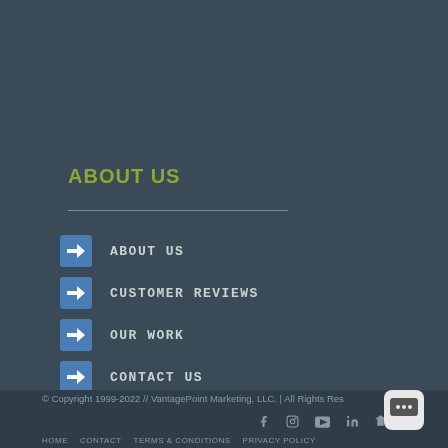ABOUT US
ABOUT US
CUSTOMER REVIEWS
OUR WORK
CONTACT US
VPOINT BLOG
JOIN THE TEAM
© Copyright 1999-2022 // VantagePoint Marketing, LLC. | All Rights Res
HOME   CONTACT   Terms & Conditions   Privacy Policy